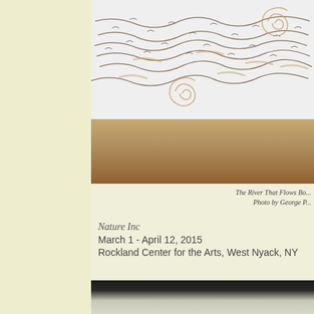[Figure (photo): Wall installation artwork showing abstract flowing lines and rose-like spiral forms on a white wall above a wood floor, photographed in a gallery setting]
The River That Flows Bo...
Photo by George P...
Nature Inc
March 1 - April 12, 2015
Rockland Center for the Arts, West Nyack, NY
[Figure (photo): Partial view of another artwork, dark background with light colored elements visible at bottom of page]